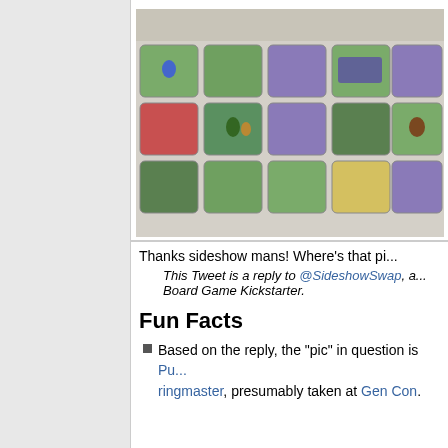[Figure (photo): Board game photo showing colorful game tiles with miniature figurines on a green and purple grid layout]
The Boa... tomorrow... hour of th... livestream... here: live.kickst... ... Puppets,
Fun Fac...
This Tw... Playthro...
This GIF... Game w... The Del...
Thanks sideshow mans! Where's that pi...
This Tweet is a reply to @SideshowSwap, a... Board Game Kickstarter.
Fun Facts
Based on the reply, the "pic" in question is Pu... ringmaster, presumably taken at Gen Con.